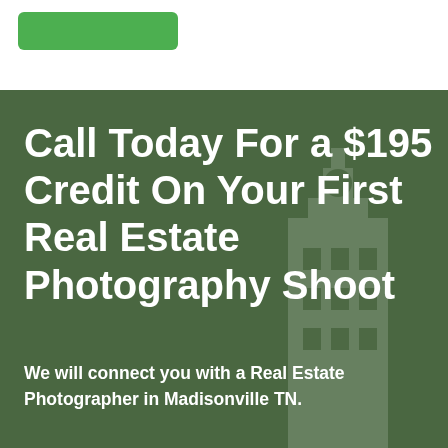[Figure (other): Green button/banner at top of page on white background]
Call Today For a $195 Credit On Your First Real Estate Photography Shoot
We will connect you with a Real Estate Photographer in Madisonville TN.